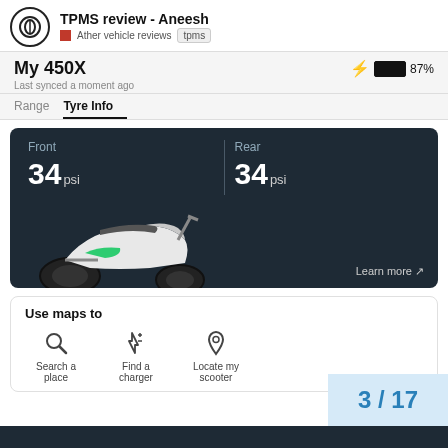TPMS review - Aneesh | Ather vehicle reviews | tpms
My 450X
Last synced a moment ago
Range   Tyre Info
[Figure (screenshot): Dark tyre info card showing Front 34 psi and Rear 34 psi with a scooter image and Learn more link]
Use maps to
[Figure (infographic): Three map feature icons: Search a place, Find a charger, Locate my scooter]
3 / 17